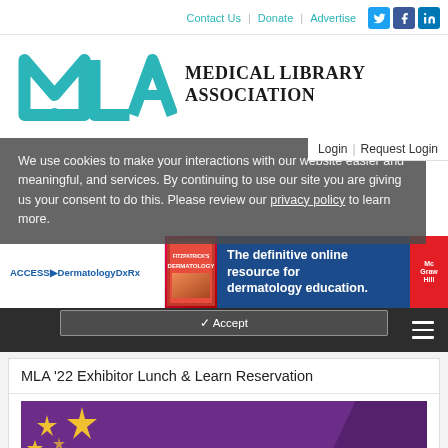Contact Us | Donate | Advertise
[Figure (logo): MLA (Medical Library Association) logo with teal geometric MLA letters and serif text Medical Library Association]
We use cookies to make your interactions with our website easier and meaningful, and services. By continuing to use our site you are giving us your consent to do this. Please review our privacy policy to learn more.
[Figure (other): Access Dermatology DxRx advertisement banner - The definitive online resource for dermatology education. McGraw Hill logo.]
Login | Request Login
MLA '22 Exhibitor Lunch & Learn Reservation
[Figure (illustration): MLA '22 conference event graphic with purple background, gold stars, large white text MLA '22 and MAY]